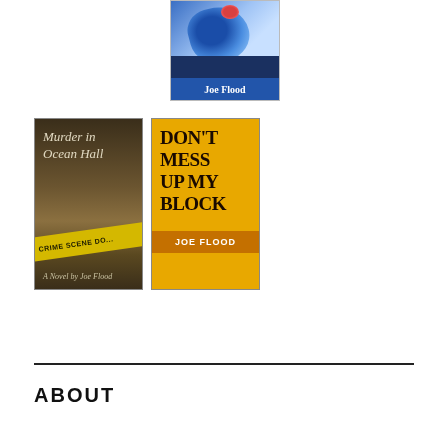[Figure (illustration): Book cover: Joe Flood - top book cover with blue paint splash, city skyline silhouette, white text 'Joe Flood' on blue bar at bottom]
[Figure (illustration): Book cover: 'Murder in Ocean Hall - A Novel by Joe Flood' - dark brown tones with crime scene tape overlay]
[Figure (illustration): Book cover: 'Don't Mess Up My Block - Joe Flood' - yellow/gold background with dark bold text and orange author strip]
ABOUT